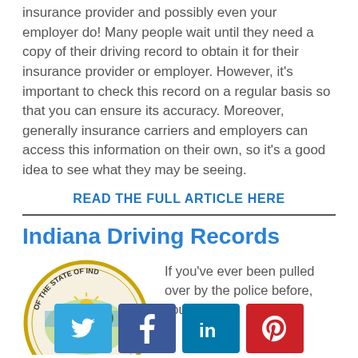insurance provider and possibly even your employer do! Many people wait until they need a copy of their driving record to obtain it for their insurance provider or employer. However, it's important to check this record on a regular basis so that you can ensure its accuracy. Moreover, generally insurance carriers and employers can access this information on their own, so it's a good idea to see what they may be seeing.
READ THE FULL ARTICLE HERE
Indiana Driving Records
[Figure (illustration): Indiana state seal circular emblem, partially visible]
If you've ever been pulled over by the police before, you are no
[Figure (infographic): Social media share buttons: Twitter (blue), Facebook (dark blue), LinkedIn (teal blue), Pinterest (red)]